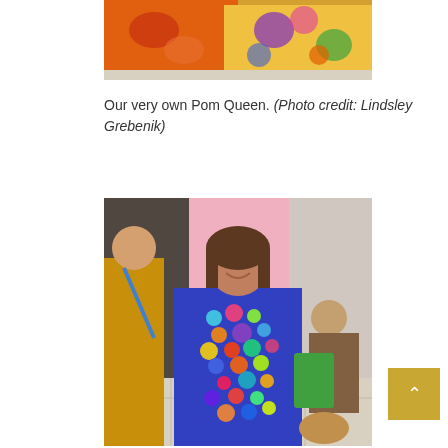[Figure (photo): Close-up of colorful embroidered cushions/pillows with floral and animal patterns in bright colors including orange, blue, purple, and yellow]
Our very own Pom Queen. (Photo credit: Lindsley Grebenik)
[Figure (photo): A smiling woman holding a large colorful pom-pom garment/blanket covered in multicolored pom-poms, standing in what appears to be a shop. Other people visible in the background, one wearing a yellow jacket.]